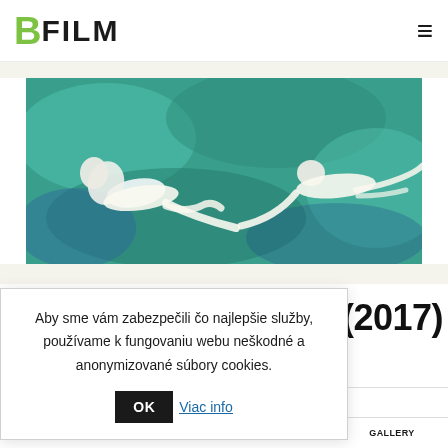BFILM
[Figure (photo): Two figures swimming underwater, aerial view, teal/green water with white painted figures]
Aby sme vám zabezpečili čo najlepšie služby, používame k fungovaniu webu neškodné a anonymizované súbory cookies. OK Viac info
YS (2017)
FESTIVALS AND AWARDS  AUTHORS  GALLERY